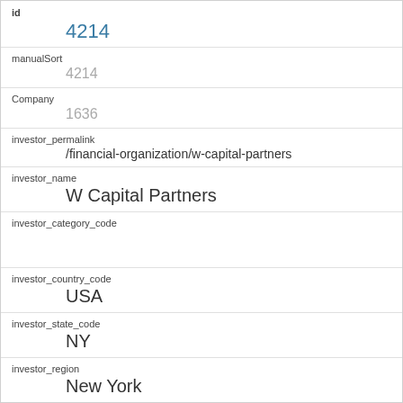id
4214
manualSort
4214
Company
1636
investor_permalink
/financial-organization/w-capital-partners
investor_name
W Capital Partners
investor_category_code
investor_country_code
USA
investor_state_code
NY
investor_region
New York
investor_city
New York